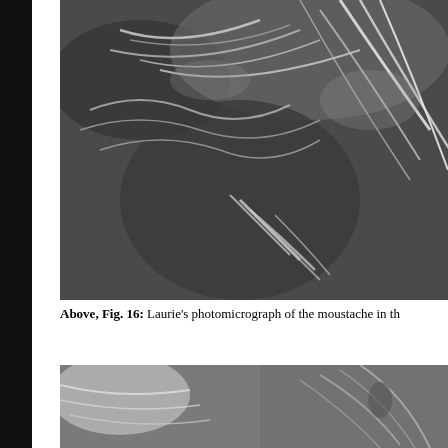[Figure (photo): Black and white photomicrograph showing fibrous structures of a moustache, with swirling and layered fiber patterns visible against a dark background. The image is cropped at the right edge.]
Above, Fig. 16: Laurie's photomicrograph of the moustache in th
[Figure (photo): Black and white photomicrograph showing fibrous structures, partially visible at the bottom of the page, with lighter fiber strands against a grey background.]